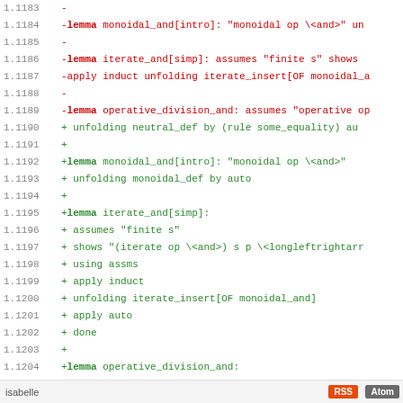[Figure (screenshot): A code diff view showing Isabelle theorem prover source file changes. Line numbers on the left (1.1183–1.1213), with red lines (deletions prefixed with '-') and green lines (additions prefixed with '+') and black lines (context). Content includes lemma definitions for monoidal_and, iterate_and, operative_division_and, and operative_approximable.]
isabelle  RSS  Atom